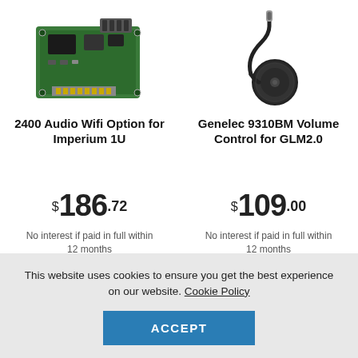[Figure (photo): Green PCB circuit board with connectors - 2400 Audio Wifi Option for Imperium 1U]
[Figure (photo): Black GPS/antenna puck with cable - Genelec 9310BM Volume Control for GLM2.0]
2400 Audio Wifi Option for Imperium 1U
Genelec 9310BM Volume Control for GLM2.0
$186.72
$109.00
No interest if paid in full within 12 months
No interest if paid in full within 12 months
This website uses cookies to ensure you get the best experience on our website. Cookie Policy
ACCEPT